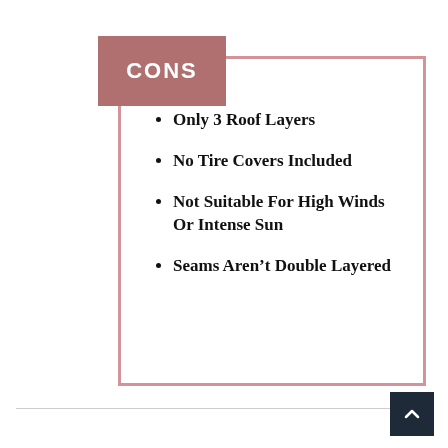CONS
Only 3 Roof Layers
No Tire Covers Included
Not Suitable For High Winds Or Intense Sun
Seams Aren't Double Layered